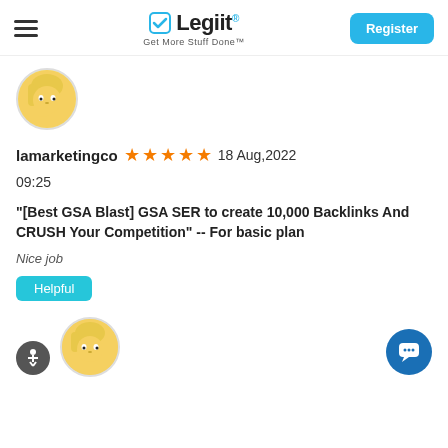Legiit – Get More Stuff Done™
[Figure (illustration): Cartoon avatar — yellow character with blonde hair, thinking pose, circular crop]
lamarketingco ★★★★★ 18 Aug,2022 09:25
"[Best GSA Blast] GSA SER to create 10,000 Backlinks And CRUSH Your Competition" -- For basic plan
Nice job
Helpful
[Figure (illustration): Cartoon avatar — yellow character with blonde hair, circular crop, partially visible at bottom]